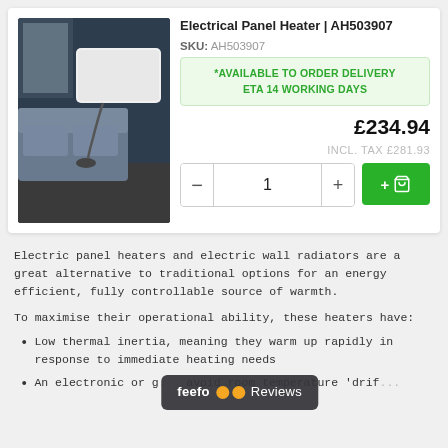Electrical Panel Heater | AH503907
SKU: AH503907
*AVAILABLE TO ORDER DELIVERY ETA 14 WORKING DAYS
£234.94
INCL. TAX £281.93
[Figure (photo): Photo of a white electric panel heater mounted on a dark blue wall above a grey sofa]
Electric panel heaters and electric wall radiators are a great alternative to traditional options for an energy efficient, fully controllable source of warmth.
To maximise their operational ability, these heaters have:
Low thermal inertia, meaning they warm up rapidly in response to immediate heating needs
An electronic or g... avoid room temperature 'drif...